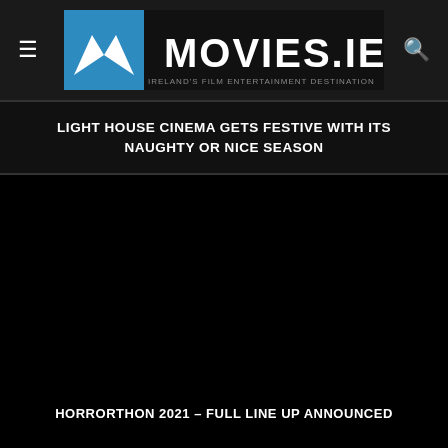MOVIES.IE
LIGHT HOUSE CINEMA GETS FESTIVE WITH ITS NAUGHTY OR NICE SEASON
[Figure (screenshot): Black image placeholder area for a cinema/movie article]
HORRORTHON 2021 – FULL LINE UP ANNOUNCED